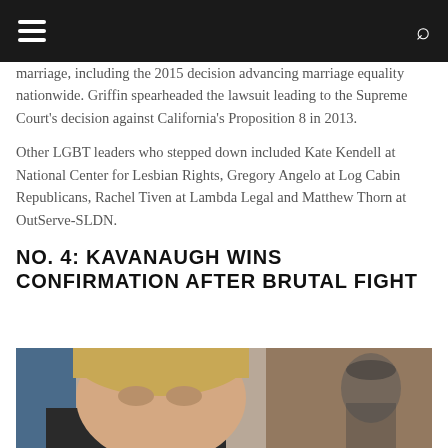marriage, including the 2015 decision advancing marriage equality nationwide. Griffin spearheaded the lawsuit leading to the Supreme Court's decision against California's Proposition 8 in 2013.
Other LGBT leaders who stepped down included Kate Kendell at National Center for Lesbian Rights, Gregory Angelo at Log Cabin Republicans, Rachel Tiven at Lambda Legal and Matthew Thorn at OutServe-SLDN.
NO. 4: KAVANAUGH WINS CONFIRMATION AFTER BRUTAL FIGHT
[Figure (photo): Close-up photo of a man with light brown hair, appearing to be at a formal hearing or event, with a blurred figure in the background]